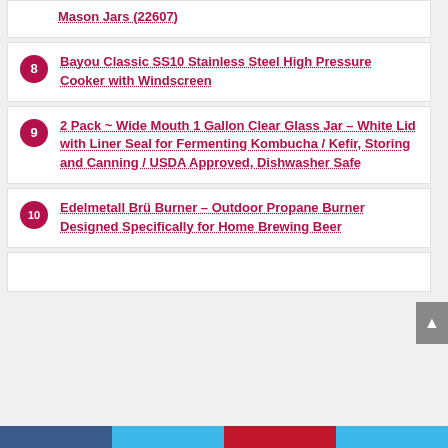Mason Jars (22607)
8 Bayou Classic SS10 Stainless Steel High Pressure Cooker with Windscreen
9 2 Pack ~ Wide Mouth 1 Gallon Clear Glass Jar – White Lid with Liner Seal for Fermenting Kombucha / Kefir, Storing and Canning / USDA Approved, Dishwasher Safe
10 Edelmetall Brü Burner – Outdoor Propane Burner Designed Specifically for Home Brewing Beer
11 (partial, cut off)